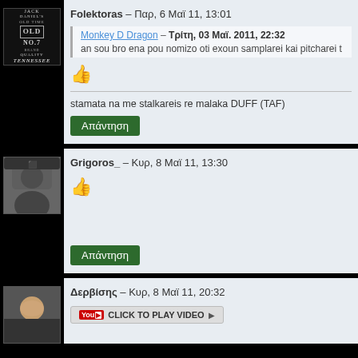Folektoras – Παρ, 6 Μαϊ 11, 13:01
Monkey D Dragon – Τρίτη, 03 Μαϊ. 2011, 22:32
an sou bro ena pou nomizo oti exoun samplarei kai pitcharei t
stamata na me stalkareis re malaka DUFF (TAF)
Απάντηση
Grigoros_ – Κυρ, 8 Μαϊ 11, 13:30
Απάντηση
Δερβίσης – Κυρ, 8 Μαϊ 11, 20:32
CLICK TO PLAY VIDEO